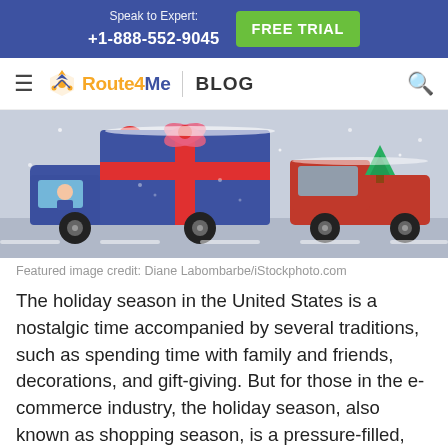Speak to Expert: +1-888-552-9045  FREE TRIAL
Route4Me | BLOG
[Figure (illustration): Holiday delivery illustration showing a blue van with a giant gift-wrapped present on it and a red pickup truck in a snowy scene]
Featured image credit: Diane Labombarbe/iStockphoto.com
The holiday season in the United States is a nostalgic time accompanied by several traditions, such as spending time with family and friends, decorations, and gift-giving. But for those in the e-commerce industry, the holiday season, also known as shopping season, is a pressure-filled, make-or-break opportunity to end the year with maximum revenue.